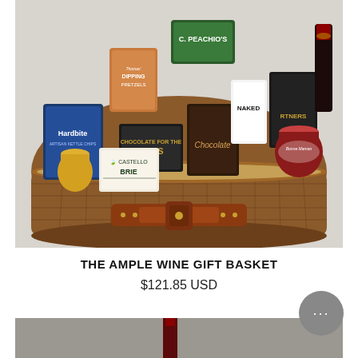[Figure (photo): A large wicker hamper/gift basket with a brown leather clasp, filled with various gourmet food and wine products including Hardbite chips, Dipping Pretzels, Boss Chocolate, Castello Brie, Chocolate Boss, Naked product, Partners product, a jar of jam, and wine bottles.]
THE AMPLE WINE GIFT BASKET
$121.85 USD
[Figure (photo): Partial view of a second product image showing a dark grey/stone background with what appears to be a wine bottle with a red foil cap, partially visible at the bottom of the page.]